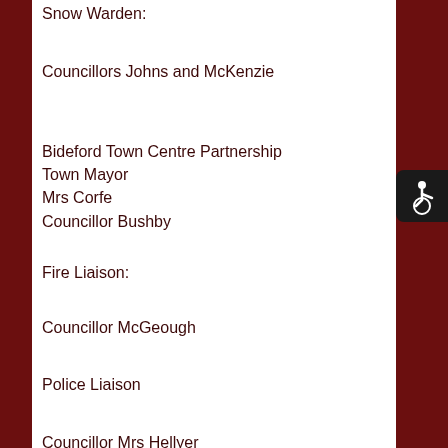Snow Warden:
Councillors Johns and McKenzie
Bideford Town Centre Partnership
Town Mayor
Mrs Corfe
Councillor Bushby
Fire Liaison:
Councillor McGeough
Police Liaison
Councillor Mrs Hellyer
One Atlantic
Councillors Hawkins
West Croft School Governors Board